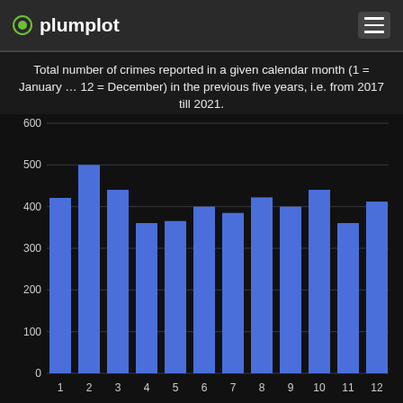plumplot
Total number of crimes reported in a given calendar month (1 = January … 12 = December) in the previous five years, i.e. from 2017 till 2021.
[Figure (bar-chart): Total number of crimes reported in a given calendar month]